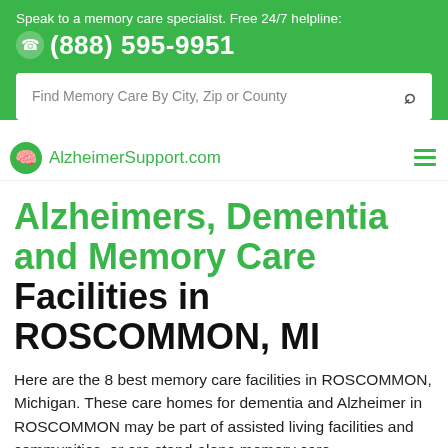Speak to a memory care specialist. Free 24/7 helpline: (888) 595-9951
[Figure (screenshot): Search bar with placeholder text: Find Memory Care By City, Zip or County]
AlzheimerSupport.com
Alzheimers, Dementia and Memory Care Facilities in ROSCOMMON, MI
Here are the 8 best memory care facilities in ROSCOMMON, Michigan. These care homes for dementia and Alzheimer in ROSCOMMON may be part of assisted living facilities and communities, or are stand-alone memory care